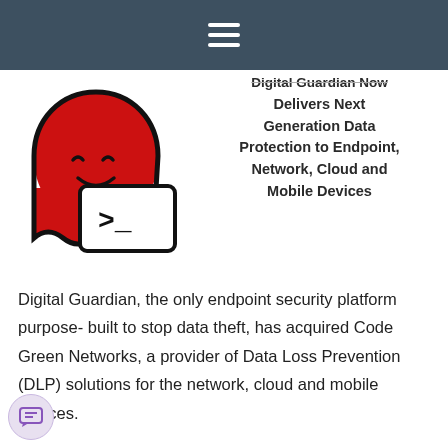≡
[Figure (illustration): Red ghost mascot illustration holding a terminal/command prompt sign with '>_' symbol]
Digital Guardian Now Delivers Next Generation Data Protection to Endpoint, Network, Cloud and Mobile Devices
Digital Guardian, the only endpoint security platform purpose- built to stop data theft, has acquired Code Green Networks, a provider of Data Loss Prevention (DLP) solutions for the network, cloud and mobile devices.